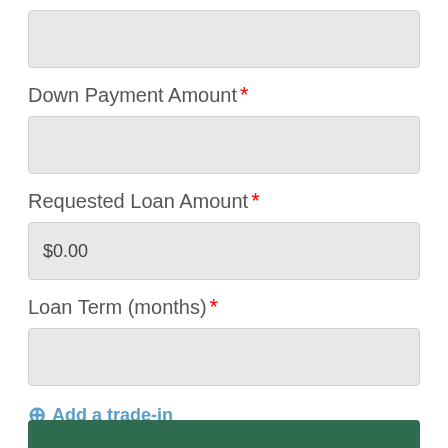[input field — top, partially visible]
Down Payment Amount *
[input field — blank]
Requested Loan Amount *
$0.00
Loan Term (months) *
[input field — blank]
+ Add a trade-in
* Required Field(s)